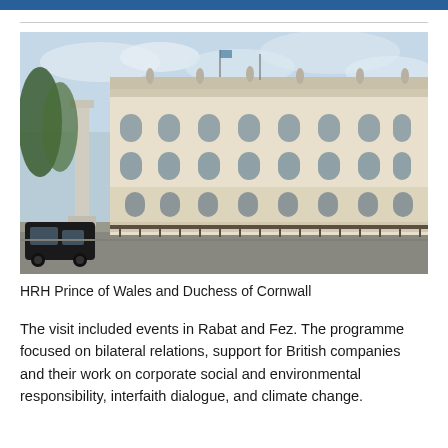[Figure (photo): Photograph of a grand neoclassical government building facade (Foreign & Commonwealth Office, London), with a black taxi cab in the foreground and a memorial column visible to the left. Overcast sky above.]
HRH Prince of Wales and Duchess of Cornwall
The visit included events in Rabat and Fez. The programme focused on bilateral relations, support for British companies and their work on corporate social and environmental responsibility, interfaith dialogue, and climate change.